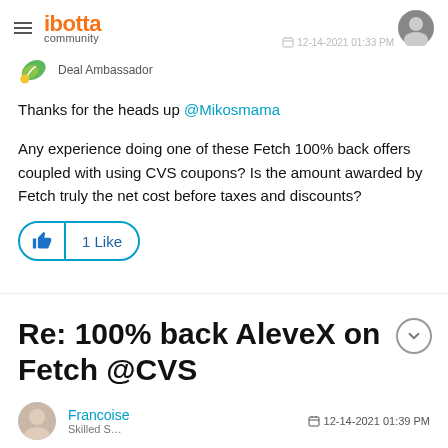ibotta community
Deal Ambassador
Thanks for the heads up @Mikosmama
Any experience doing one of these Fetch 100% back offers coupled with using CVS coupons? Is the amount awarded by Fetch truly the net cost before taxes and discounts?
1 Like
Re: 100% back AleveX on Fetch @CVS
Francoise  12-14-2021 01:39 PM